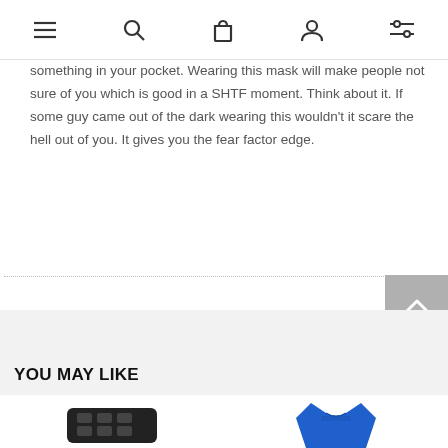navigation icons: menu, search, bag, account, filters
something in your pocket. Wearing this mask will make people not sure of you which is good in a SHTF moment. Think about it. If some guy came out of the dark wearing this wouldn't it scare the hell out of you. It gives you the fear factor edge.
YOU MAY LIKE
[Figure (photo): Two product images at bottom: a black tactical item on the left and a blue vest/garment on the right]